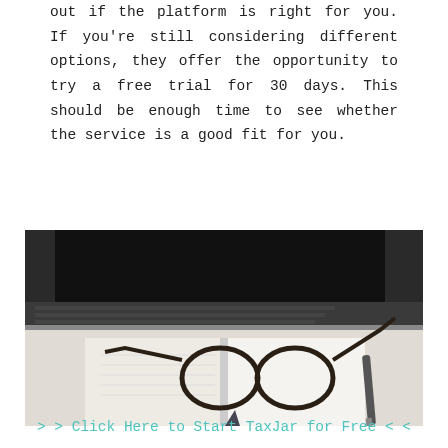out if the platform is right for you. If you're still considering different options, they offer the opportunity to try a free trial for 30 days. This should be enough time to see whether the service is a good fit for you.
[Figure (photo): A desk scene with an open notebook, tortoiseshell glasses resting on top, a pen to the right, and a laptop in the background.]
>> Click Here to Start TaxJar for Free <<